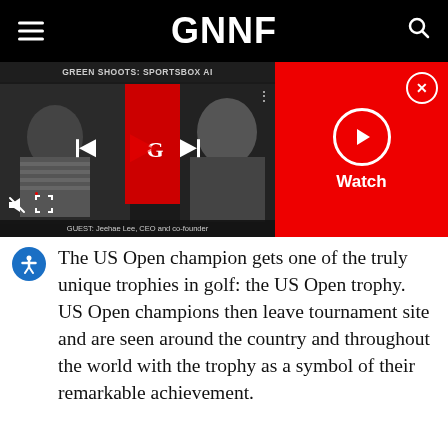GNNF
[Figure (screenshot): Video player showing 'GREEN SHOOTS: SPORTSBOX AI' with two people on screen. Controls include skip back, play, skip forward, mute, progress bar, and fullscreen. Guest bar reads: GUEST: Jeehae Lee, CEO and co-founder. Adjacent red panel with close button (X) and Watch button with play circle icon.]
The US Open champion gets one of the truly unique trophies in golf: the US Open trophy. US Open champions then leave tournament site and are seen around the country and throughout the world with the trophy as a symbol of their remarkable achievement.